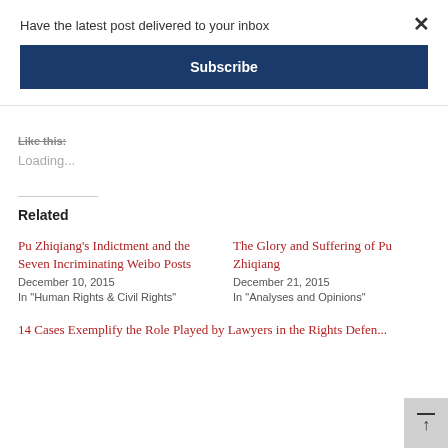Have the latest post delivered to your inbox
Subscribe
Like this:
Loading...
Related
Pu Zhiqiang's Indictment and the Seven Incriminating Weibo Posts
December 10, 2015
In "Human Rights & Civil Rights"
The Glory and Suffering of Pu Zhiqiang
December 21, 2015
In "Analyses and Opinions"
14 Cases Exemplify the Role Played by Lawyers in the Rights Defense...